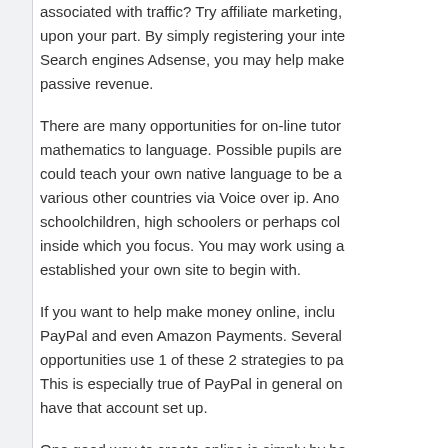associated with traffic? Try affiliate marketing, upon your part. By simply registering your inte... Search engines Adsense, you may help make passive revenue.
There are many opportunities for on-line tutor... mathematics to language. Possible pupils are... could teach your own native language to be a... various other countries via Voice over ip. Ano... schoolchildren, high schoolers or perhaps col... inside which you focus. You may work using a... established your own site to begin with.
If you want to help make money online, inclu... PayPal and even Amazon Payments. Several... opportunities use 1 of these 2 strategies to pa... This is especially true of PayPal in general on... have that account set up.
One good way to create online is simply by be... be able to a reputable organization. As an inte... percentage of any sales that you refer men an... you be marketing a well-liked product, and bu... your connect to make a purchase, an individu... commission.